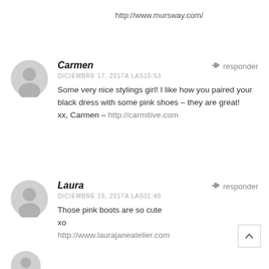http://www.mursway.com/
Carmen
DICIEMBRE 17, 2017A LAS15:53
Some very nice stylings girl! I like how you paired your black dress with some pink shoes – they are great!
xx, Carmen – http://carmitive.com
Laura
DICIEMBRE 18, 2017A LAS01:48
Those pink boots are so cute
xo
http://www.laurajaneatelier.com